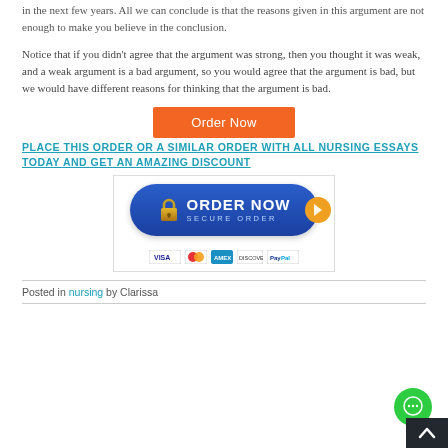in the next few years. All we can conclude is that the reasons given in this argument are not enough to make you believe in the conclusion.
Notice that if you didn't agree that the argument was strong, then you thought it was weak, and a weak argument is a bad argument, so you would agree that the argument is bad, but we would have different reasons for thinking that the argument is bad.
[Figure (other): Orange 'Order Now' button]
PLACE THIS ORDER OR A SIMILAR ORDER WITH ALL NURSING ESSAYS TODAY AND GET AN AMAZING DISCOUNT
[Figure (other): Blue 'ORDER NOW SECURE ORDER' button with padlock icon, arrow, and payment icons (Visa, MasterCard, AmEx, Discover, PayPal)]
Posted in nursing by Clarissa